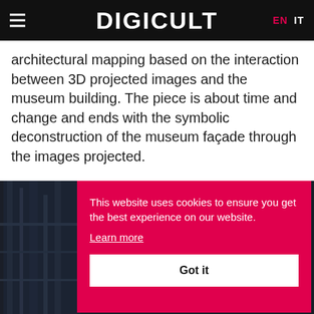DIGICULT  EN  IT
architectural mapping based on the interaction between 3D projected images and the museum building. The piece is about time and change and ends with the symbolic deconstruction of the museum façade through the images projected.
[Figure (photo): Dark architectural photograph visible behind a cookie consent overlay, showing architectural structural elements in blue-grey tones]
This website uses cookies to ensure you get the best experience on our website. Learn more
Got it